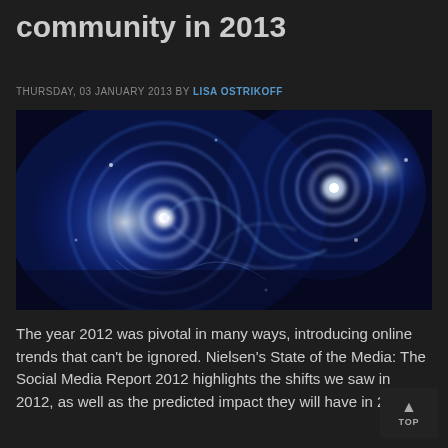community in 2013
THURSDAY, 03 JANUARY 2013 BY LISA OSTRIKOFF
[Figure (illustration): Glowing blue circular energy wave patterns on dark background, resembling network nodes or social connections with electric blue light effects]
The year 2012 was pivotal in many ways, introducing online trends that can't be ignored. Nielsen's State of the Media: The Social Media Report 2012 highlights the shifts we saw in 2012, as well as the predicted impact they will have in 2013.